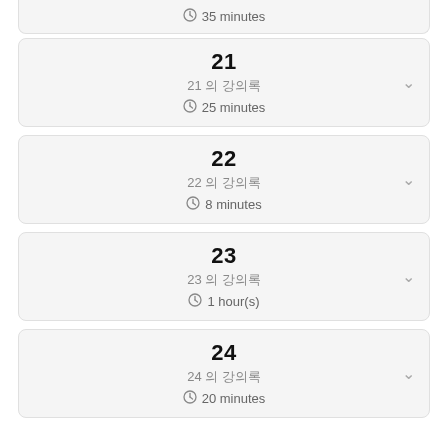35 minutes
21
21 의 강의록
25 minutes
22
22 의 강의록
8 minutes
23
23 의 강의록
1 hour(s)
24
24 의 강의록
20 minutes